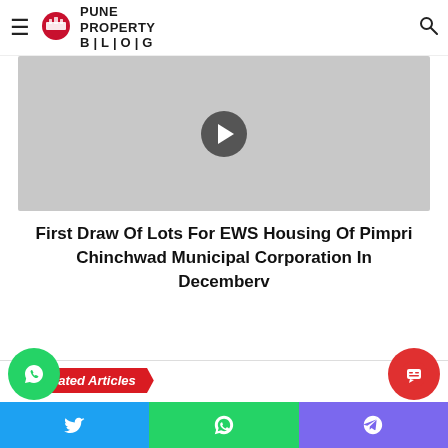Pune Property Blog
[Figure (photo): Gray placeholder video/image thumbnail with a play button in the center]
First Draw Of Lots For EWS Housing Of Pimpri Chinchwad Municipal Corporation In Decemberv
Related Articles
[Figure (photo): City skyline thumbnail image]
[Figure (photo): Hands exchanging money thumbnail image]